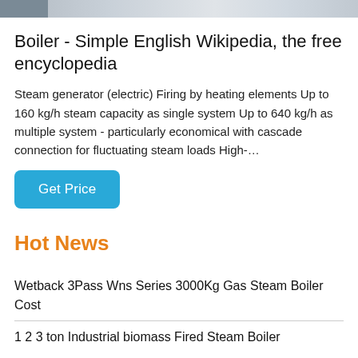[Figure (photo): Partial view of a boiler or industrial equipment, photo strip at top of page]
Boiler - Simple English Wikipedia, the free encyclopedia
Steam generator (electric) Firing by heating elements Up to 160 kg/h steam capacity as single system Up to 640 kg/h as multiple system - particularly economical with cascade connection for fluctuating steam loads High-…
Get Price
Hot News
Wetback 3Pass Wns Series 3000Kg Gas Steam Boiler Cost
1 2 3 ton Industrial biomass Fired Steam Boiler